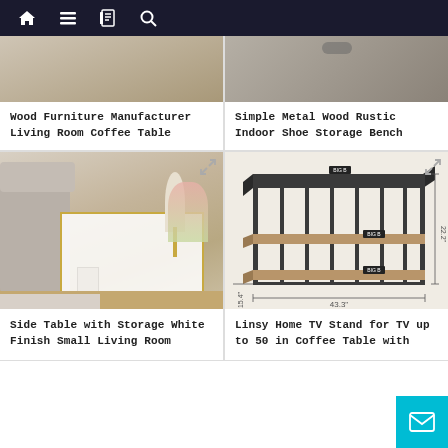Navigation bar with home, menu, book, and search icons
Wood Furniture Manufacturer Living Room Coffee Table
Simple Metal Wood Rustic Indoor Shoe Storage Bench
[Figure (photo): Side table with white finish, gold frame, single drawer, lamp and decor on top, next to a gray sofa in a living room setting]
Side Table with Storage White Finish Small Living Room
[Figure (photo): Linsy Home TV stand with black metal frame and three wooden shelves, shown with dimension measurements: 43.3 inch width, 15.4 inch depth, 22.2 inch height]
Linsy Home TV Stand for TV up to 50 in Coffee Table with